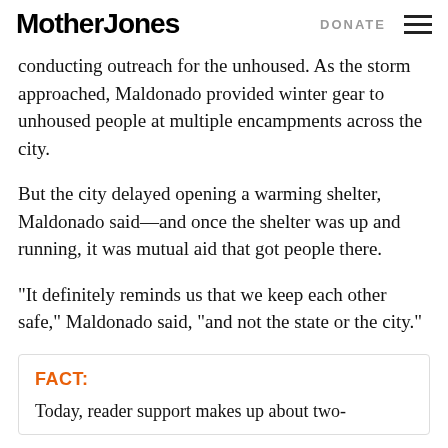Mother Jones | DONATE
conducting outreach for the unhoused. As the storm approached, Maldonado provided winter gear to unhoused people at multiple encampments across the city.
But the city delayed opening a warming shelter, Maldonado said—and once the shelter was up and running, it was mutual aid that got people there.
“It definitely reminds us that we keep each other safe,” Maldonado said, “and not the state or the city.”
FACT:
Today, reader support makes up about two-